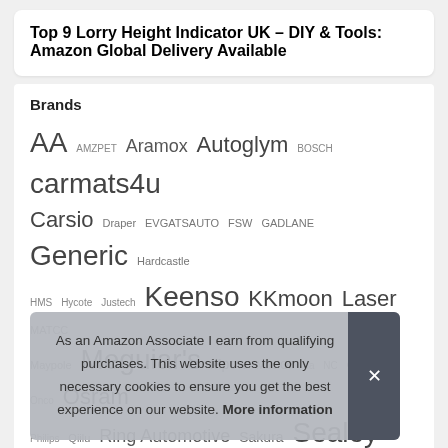Top 9 Lorry Height Indicator UK – DIY & Tools: Amazon Global Delivery Available
Brands
[Figure (infographic): Word cloud of brands including AA, AMZPET, Aramox, Autoglym, BOSCH, carmats4u, Carsio, Draper, EVGATSAUTO, FSW, GADLANE, Generic, Hardcastle, HMS, Hycote, Justech, Keenso, KKmoon, Laser, MATCC, Maypole, Meguiar's, Mpow, Muc Off, na, NC, Oasser, Onco, Osram, Philips, Qiilu, Ring Automotive, Sakura, Sealey, Silverline, Simply, Sourcingman, Summit, Turtle Wax, UKB4C, Unknown, Vipa]
As an Amazon Associate I earn from qualifying purchases. This website uses the only necessary cookies to ensure you get the best experience on our website. More information